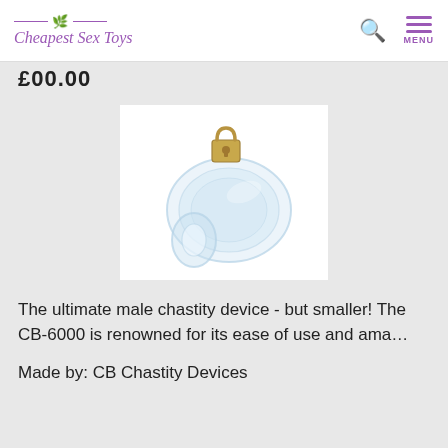Cheapest Sex Toys
£00.00
[Figure (photo): A clear plastic male chastity device with a gold padlock, photographed on a white background.]
The ultimate male chastity device - but smaller! The CB-6000 is renowned for its ease of use and ama…
Made by: CB Chastity Devices